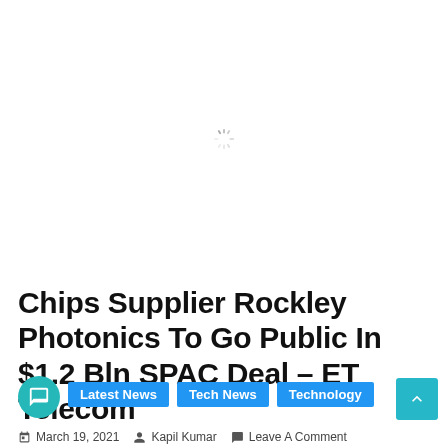[Figure (other): Loading spinner icon in the center of a white blank image area]
Chips Supplier Rockley Photonics To Go Public In $1.2 Bln SPAC Deal – ET Telecom
Latest News  Tech News  Technology
March 19, 2021  Kapil Kumar  Leave A Comment